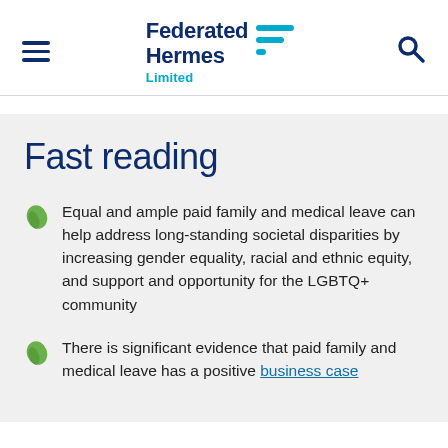Federated Hermes Limited
Fast reading
Equal and ample paid family and medical leave can help address long-standing societal disparities by increasing gender equality, racial and ethnic equity, and support and opportunity for the LGBTQ+ community
There is significant evidence that paid family and medical leave has a positive business case